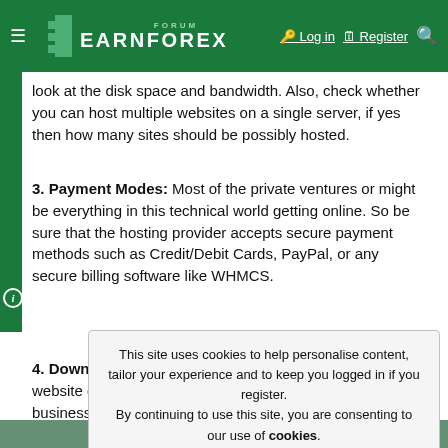FORUM EARNFOREX — Log in | Register
look at the disk space and bandwidth. Also, check whether you can host multiple websites on a single server, if yes then how many sites should be possibly hosted.
3. Payment Modes: Most of the private ventures or might be everything in this technical world getting online. So be sure that the hosting provider accepts secure payment methods such as Credit/Debit Cards, PayPal, or any secure billing software like WHMCS.
4. Down-to-Earth Support: Whether you host your own website or do trading business or give maintenance of your business to
This site uses cookies to help personalise content, tailor your experience and to keep you logged in if you register.
By continuing to use this site, you are consenting to our use of cookies.